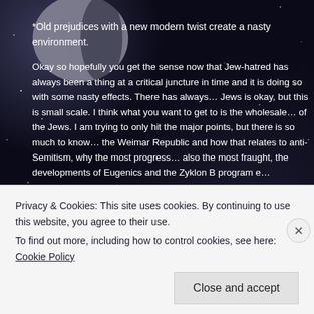*Old prejudices with a new modern twist create a nasty environment.
Okay so hopefully you get the sense now that Jew-hatred has always been a thing at a critical juncture in time and it is doing so with some nasty effects. There has always... Jews is okay, but this is small scale. I think what you want to get to is the wholesale... of the Jews. I am trying to only hit the major points, but there is so much to know... the Weimar Republic and how that relates to anti-Semitism, why the most progre... also the most fraught, the developments of Eugenics and the Zyklon B program e...
[Figure (photo): Historical propaganda image showing a figure in a helmet against a red background with a black symbol]
Privacy & Cookies: This site uses cookies. By continuing to use this website, you agree to their use.
To find out more, including how to control cookies, see here: Cookie Policy
Close and accept